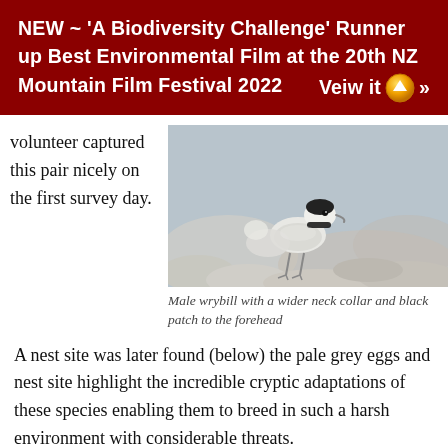NEW ~ 'A Biodiversity Challenge' Runner up Best Environmental Film at the 20th NZ Mountain Film Festival 2022   Veiw it »
volunteer captured this pair nicely on the first survey day.
[Figure (photo): A wrybill bird (male) standing among pale rounded stones, showing a wider neck collar and black patch to the forehead. Close-up wildlife photograph with soft background.]
Male wrybill with a wider neck collar and black patch to the forehead
A nest site was later found (below) the pale grey eggs and nest site highlight the incredible cryptic adaptations of these species enabling them to breed in such a harsh environment with considerable threats.
The female had briefly left this nest site (below) to forage